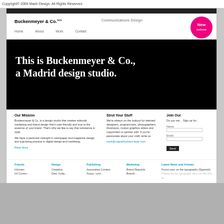Copyright© 2009 Mash Design. All Rights Reserved.
[Figure (screenshot): Screenshot of Buckenmeyer & Co. website homepage showing navigation bar with logo, Communications Design tagline, nav links (Home, About, Work, Contact), a pink 'New website' circular badge, a large black hero banner with white serif text reading 'This is Buckenmeyer & Co., a Madrid design studio.', three content columns (Our Mission, Strut Your Stuff, Join Our), and a footer with links columns (Friends, Design, Publishing, Marketing, Latest News and Articles)]